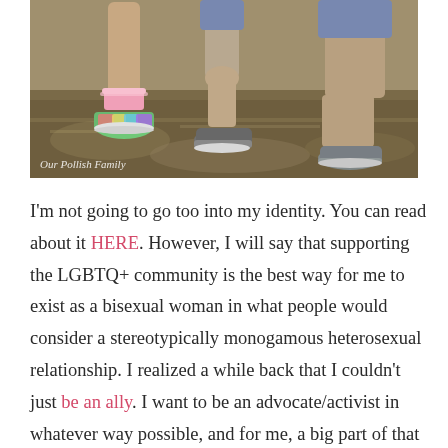[Figure (photo): Close-up photo of children's feet/legs standing on grass. One child wears pink frilly socks with colorful sneakers, another wears jeans with slip-on shoes. Watermark reads 'Our Pollish Family' in bottom left corner.]
I'm not going to go too into my identity. You can read about it HERE. However, I will say that supporting the LGBTQ+ community is the best way for me to exist as a bisexual woman in what people would consider a stereotypically monogamous heterosexual relationship. I realized a while back that I couldn't just be an ally. I want to be an advocate/activist in whatever way possible, and for me, a big part of that is teaching my children